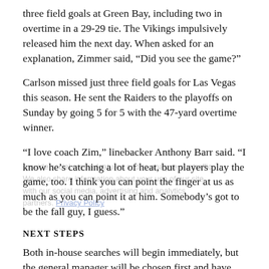three field goals at Green Bay, including two in overtime in a 29-29 tie. The Vikings impulsively released him the next day. When asked for an explanation, Zimmer said, “Did you see the game?”
Carlson missed just three field goals for Las Vegas this season. He sent the Raiders to the playoffs on Sunday by going 5 for 5 with the 47-yard overtime winner.
“I love coach Zim,” linebacker Anthony Barr said. “I know he’s catching a lot of heat, but players play the game, too. I think you can point the finger at us as much as you can point it at him. Somebody’s got to be the fall guy, I guess.”
NEXT STEPS
Both in-house searches will begin immediately, but the general manager will be chosen first and have input into the head coach hire. Las Vegas,